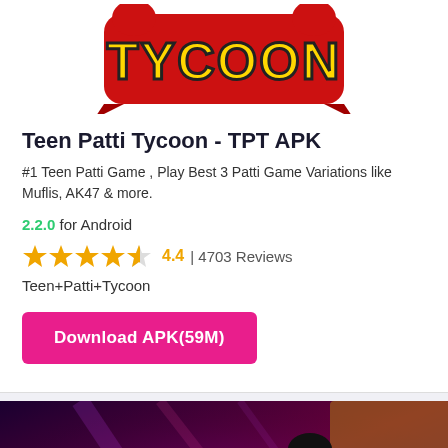[Figure (screenshot): Teen Patti Tycoon game logo on red banner background with yellow TYCOON text]
Teen Patti Tycoon - TPT APK
#1 Teen Patti Game , Play Best 3 Patti Game Variations like Muflis, AK47 & more.
2.2.0 for Android
4.4 | 4703 Reviews
Teen+Patti+Tycoon
Download APK(59M)
[Figure (screenshot): Teen Patti Tycoon game screenshot showing a female character in red and yellow outfit with purple glowing game environment]